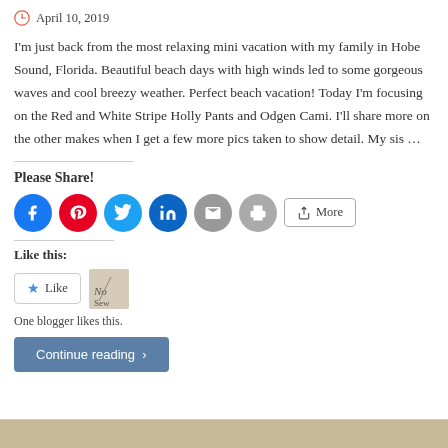April 10, 2019
I'm just back from the most relaxing mini vacation with my family in Hobe Sound, Florida. Beautiful beach days with high winds led to some gorgeous waves and cool breezy weather. Perfect beach vacation! Today I'm focusing on the Red and White Stripe Holly Pants and Odgen Cami. I'll share more on the other makes when I get a few more pics taken to show detail. My sis …
Please Share!
[Figure (infographic): Social sharing buttons: Facebook, Pinterest, Twitter, LinkedIn, Email, Print circles and a More button]
Like this:
[Figure (infographic): Like button widget with star icon and blogger avatar thumbnail]
One blogger likes this.
Continue reading >